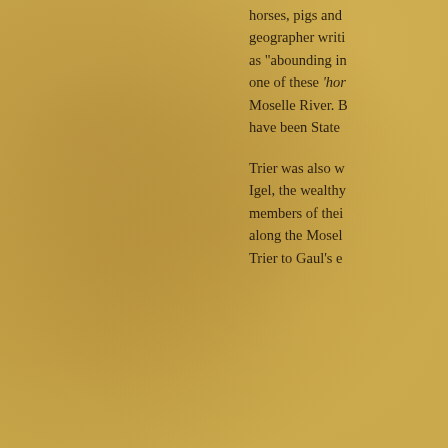horses, pigs and geographer writi as "abounding in one of these 'hor Moselle River. B have been State
Trier was also w Igel, the wealthy members of thei along the Mosel Trier to Gaul's e